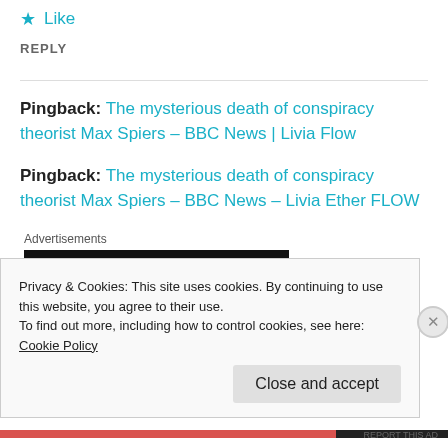★ Like
REPLY
Pingback: The mysterious death of conspiracy theorist Max Spiers – BBC News | Livia Flow
Pingback: The mysterious death of conspiracy theorist Max Spiers – BBC News – Livia Ether FLOW
Advertisements
[Figure (screenshot): Dark advertisement banner image]
Privacy & Cookies: This site uses cookies. By continuing to use this website, you agree to their use.
To find out more, including how to control cookies, see here: Cookie Policy
Close and accept